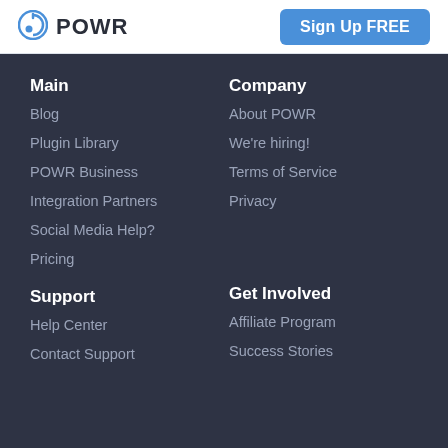POWR | Sign Up FREE
Main
Blog
Plugin Library
POWR Business
Integration Partners
Social Media Help?
Pricing
Company
About POWR
We're hiring!
Terms of Service
Privacy
Support
Help Center
Contact Support
Get Involved
Affiliate Program
Success Stories